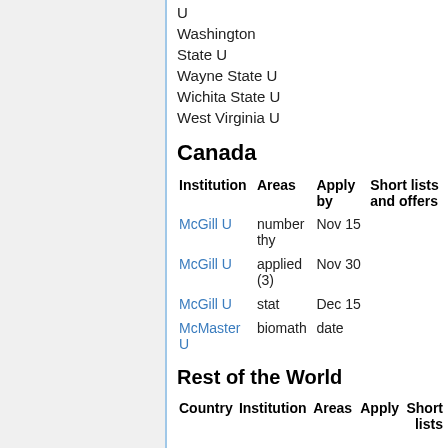U
Washington State U
Wayne State U
Wichita State U
West Virginia U
Canada
| Institution | Areas | Apply by | Short lists and offers |
| --- | --- | --- | --- |
| McGill U | number thy | Nov 15 |  |
| McGill U | applied (3) | Nov 30 |  |
| McGill U | stat | Dec 15 |  |
| McMaster U | biomath | date |  |
Rest of the World
| Country | Institution | Areas | Apply | Short lists |
| --- | --- | --- | --- | --- |